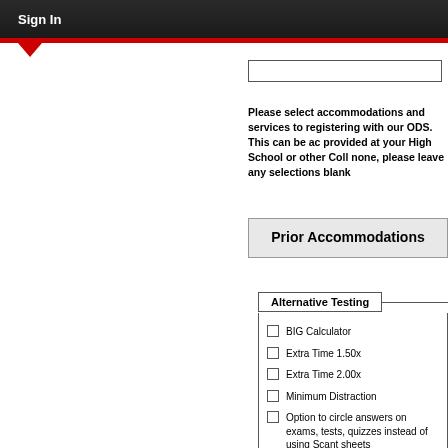Sign In
Please select accommodations and services to registering with our ODS. This can be accommodations provided at your High School or other College. If none, please leave any selections blank
Prior Accommodations
Alternative Testing
BIG Calculator
Extra Time 1.50x
Extra Time 2.00x
Minimum Distraction
Option to circle answers on exams, tests, quizzes instead of using Scantron sheets
Separate Testing Location
Use of laptop for short and long essays on exams